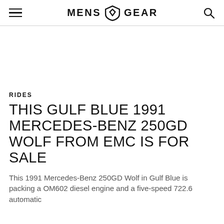MENS GEAR
RIDES
THIS GULF BLUE 1991 MERCEDES-BENZ 250GD WOLF FROM EMC IS FOR SALE
This 1991 Mercedes-Benz 250GD Wolf in Gulf Blue is packing a OM602 diesel engine and a five-speed 722.6 automatic